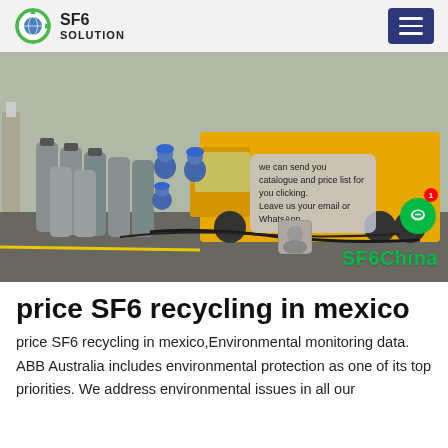SF6 SOLUTION
[Figure (photo): Workers in blue uniforms handling large grey gas cylinders beside a yellow truck on a paved area. A chat overlay with text 'we can send you catalogue and price list for you clicking. Leave us your email or WhatsApp.' and watermark 'SF6China' visible in lower right.]
price SF6 recycling in mexico
price SF6 recycling in mexico,Environmental monitoring data. ABB Australia includes environmental protection as one of its top priorities. We address environmental issues in all our